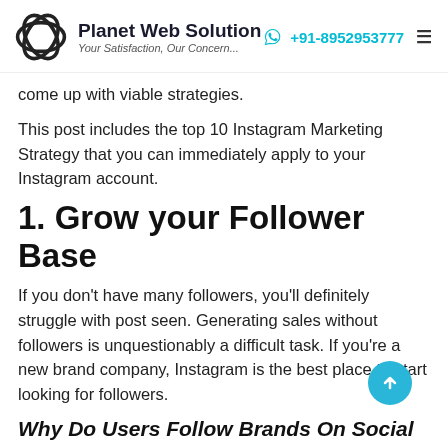Planet Web Solution — Your Satisfaction, Our Concern... | +91-8952953777
come up with viable strategies.
This post includes the top 10 Instagram Marketing Strategy that you can immediately apply to your Instagram account.
1. Grow your Follower Base
If you don't have many followers, you'll definitely struggle with post seen. Generating sales without followers is unquestionably a difficult task. If you're a new brand company, Instagram is the best place to start looking for followers.
Why Do Users Follow Brands On Social Media?
Below is the list of possible reasons behind users